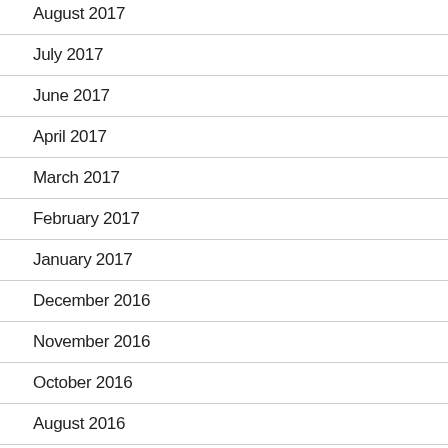August 2017
July 2017
June 2017
April 2017
March 2017
February 2017
January 2017
December 2016
November 2016
October 2016
August 2016
July 2016